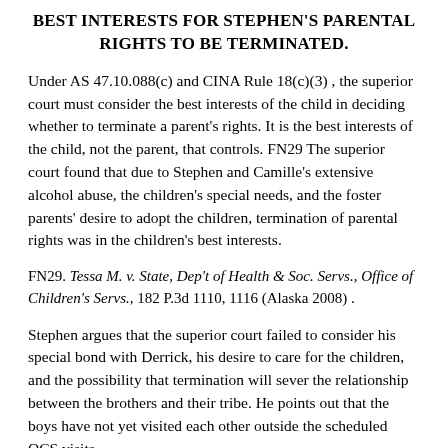BEST INTERESTS FOR STEPHEN'S PARENTAL RIGHTS TO BE TERMINATED.
Under AS 47.10.088(c) and CINA Rule 18(c)(3) , the superior court must consider the best interests of the child in deciding whether to terminate a parent's rights. It is the best interests of the child, not the parent, that controls. FN29 The superior court found that due to Stephen and Camille's extensive alcohol abuse, the children's special needs, and the foster parents' desire to adopt the children, termination of parental rights was in the children's best interests.
FN29. Tessa M. v. State, Dep't of Health & Soc. Servs., Office of Children's Servs., 182 P.3d 1110, 1116 (Alaska 2008) .
Stephen argues that the superior court failed to consider his special bond with Derrick, his desire to care for the children, and the possibility that termination will sever the relationship between the brothers and their tribe. He points out that the boys have not yet visited each other outside the scheduled OCS visits.